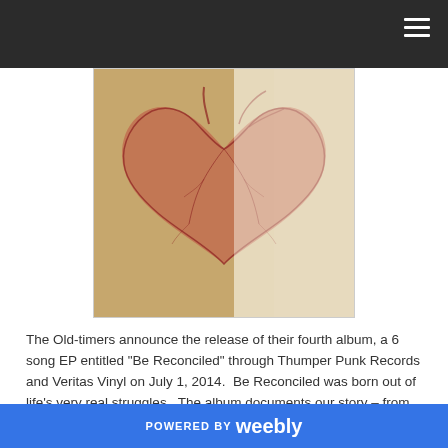[Figure (illustration): Album artwork showing a double-exposed anatomical heart illustration over a warm tan/beige textured background. The heart is rendered in reddish-brown tones with visible veins and arteries.]
The Old-timers announce the release of their fourth album, a 6 song EP entitled “Be Reconciled” through Thumper Punk Records and Veritas Vinyl on July 1, 2014. Be Reconciled was born out of life’s very real struggles. The album documents our story – from sinner to repentance to reconciliation through Jesus. While remaining true to their classic thrash and punk roots, Be
POWERED BY weebly